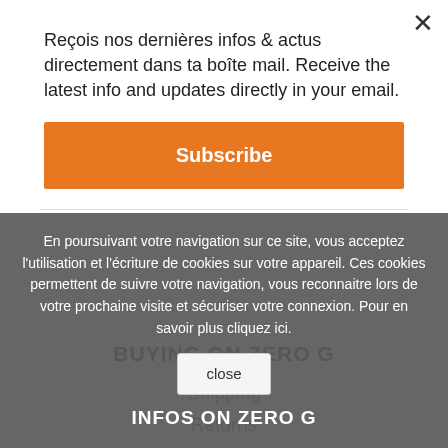Reçois nos dernières infos & actus directement dans ta boîte mail. Receive the latest info and updates directly in your email.
Subscribe
BUYING ON ZERO G
Shipping
Returns
Order status
Worldwide delivery
Duty free purchase
Terms and conditions
Legalese
En poursuivant votre navigation sur ce site, vous acceptez l'utilisation et l'écriture de cookies sur votre appareil. Ces cookies permettent de suivre votre navigation, vous reconnaitre lors de votre prochaine visite et sécuriser votre connexion. Pour en savoir plus cliquez ici.
close
INFOS ON ZERO G